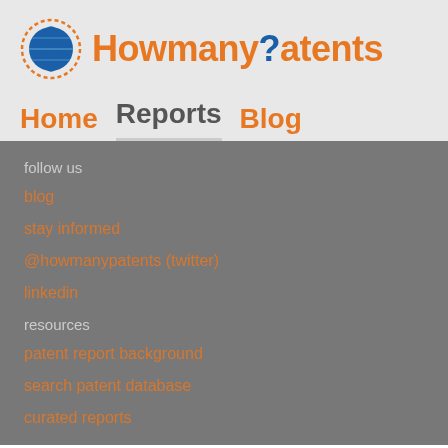[Figure (logo): HowmanyPatents logo with globe icon and orange text]
Home  Reports  Blog
follow us
blog
stay informed
@howmanypatents (twitter)
linkedin
resources
patent report background
search patent database
curated reports